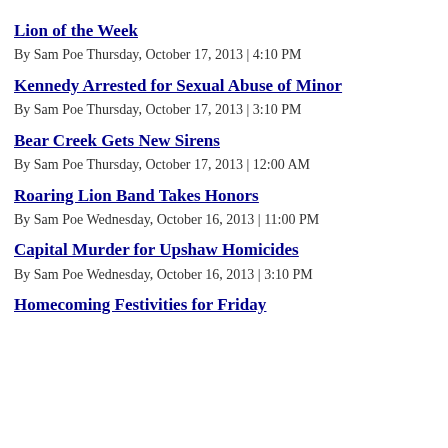Lion of the Week
By Sam Poe Thursday, October 17, 2013 | 4:10 PM
Kennedy Arrested for Sexual Abuse of Minor
By Sam Poe Thursday, October 17, 2013 | 3:10 PM
Bear Creek Gets New Sirens
By Sam Poe Thursday, October 17, 2013 | 12:00 AM
Roaring Lion Band Takes Honors
By Sam Poe Wednesday, October 16, 2013 | 11:00 PM
Capital Murder for Upshaw Homicides
By Sam Poe Wednesday, October 16, 2013 | 3:10 PM
Homecoming Festivities for Friday